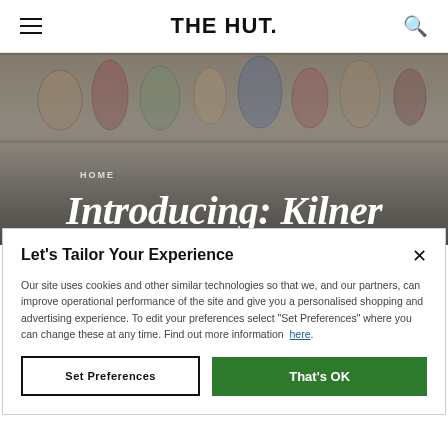THE HUT.
[Figure (photo): Hero banner image showing jars and preserved foods on shelves with a gradient overlay. Text overlaid: HOME / Introducing: Kilner]
Introducing: Kilner
Let's Tailor Your Experience
Our site uses cookies and other similar technologies so that we, and our partners, can improve operational performance of the site and give you a personalised shopping and advertising experience. To edit your preferences select "Set Preferences" where you can change these at any time. Find out more information here.